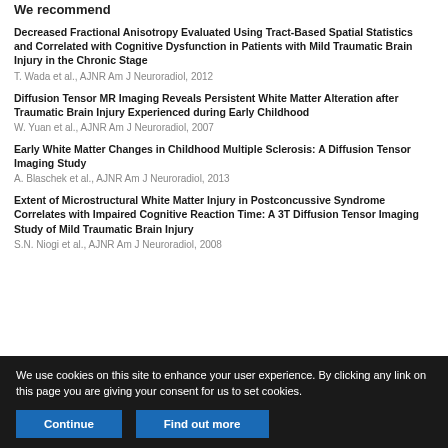We recommend
Decreased Fractional Anisotropy Evaluated Using Tract-Based Spatial Statistics and Correlated with Cognitive Dysfunction in Patients with Mild Traumatic Brain Injury in the Chronic Stage
T. Wada et al., AJNR Am J Neuroradiol, 2012
Diffusion Tensor MR Imaging Reveals Persistent White Matter Alteration after Traumatic Brain Injury Experienced during Early Childhood
W. Yuan et al., AJNR Am J Neuroradiol, 2007
Early White Matter Changes in Childhood Multiple Sclerosis: A Diffusion Tensor Imaging Study
A. Blaschek et al., AJNR Am J Neuroradiol, 2013
Extent of Microstructural White Matter Injury in Postconcussive Syndrome Correlates with Impaired Cognitive Reaction Time: A 3T Diffusion Tensor Imaging Study of Mild Traumatic Brain Injury
S.N. Niogi et al., AJNR Am J Neuroradiol, 2008
We use cookies on this site to enhance your user experience. By clicking any link on this page you are giving your consent for us to set cookies.
Continue  Find out more